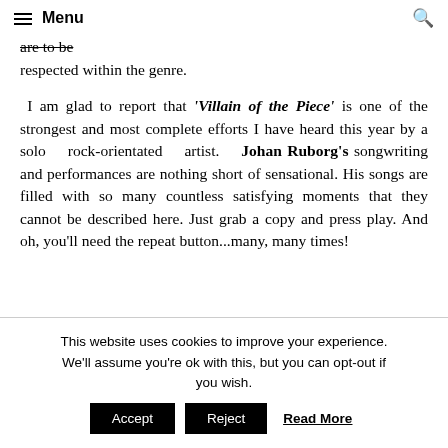Menu
ted form of progress, but real rock has its hard and rules, if you are to be respected within the genre.
I am glad to report that ‘Villain of the Piece’ is one of the strongest and most complete efforts I have heard this year by a solo rock-orientated artist. Johan Ruborg’s songwriting and performances are nothing short of sensational. His songs are filled with so many countless satisfying moments that they cannot be described here. Just grab a copy and press play. And oh, you’ll need the repeat button…many, many times!
This website uses cookies to improve your experience. We'll assume you're ok with this, but you can opt-out if you wish. Accept Reject Read More